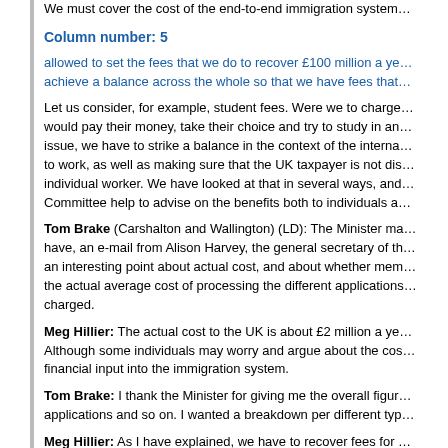We must cover the cost of the end-to-end immigration system…
Column number: 5
allowed to set the fees that we do to recover £100 million a ye… achieve a balance across the whole so that we have fees that…
Let us consider, for example, student fees. Were we to charge… would pay their money, take their choice and try to study in an… issue, we have to strike a balance in the context of the interna… to work, as well as making sure that the UK taxpayer is not dis… individual worker. We have looked at that in several ways, and… Committee help to advise on the benefits both to individuals a…
Tom Brake (Carshalton and Wallington) (LD): The Minister ma… have, an e-mail from Alison Harvey, the general secretary of th… an interesting point about actual cost, and about whether mem… the actual average cost of processing the different applications… charged.
Meg Hillier: The actual cost to the UK is about £2 million a ye… Although some individuals may worry and argue about the cos… financial input into the immigration system.
Tom Brake: I thank the Minister for giving me the overall figur… applications and so on. I wanted a breakdown per different typ…
Meg Hillier: As I have explained, we have to recover fees for … detail in response to the intervention from the hon. Member fo… that balance. Rather than charge the actual cost for each…